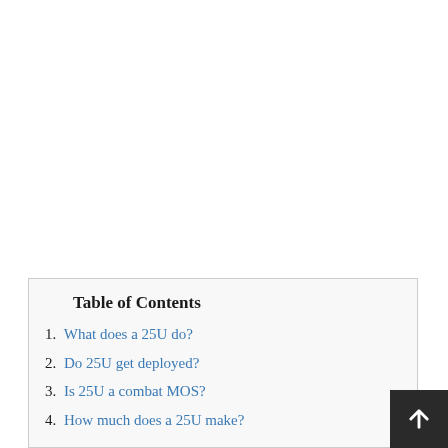Table of Contents
1. What does a 25U do?
2. Do 25U get deployed?
3. Is 25U a combat MOS?
4. How much does a 25U make?